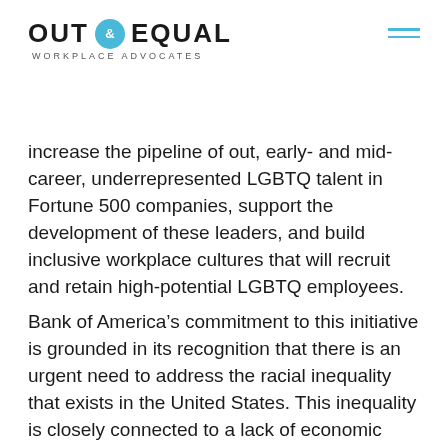OUT & EQUAL WORKPLACE ADVOCATES
increase the pipeline of out, early- and mid-career, underrepresented LGBTQ talent in Fortune 500 companies, support the development of these leaders, and build inclusive workplace cultures that will recruit and retain high-potential LGBTQ employees.
Bank of America’s commitment to this initiative is grounded in its recognition that there is an urgent need to address the racial inequality that exists in the United States. This inequality is closely connected to a lack of economic opportunity. Where there is racial injustice there is often a lack of economic mobility,